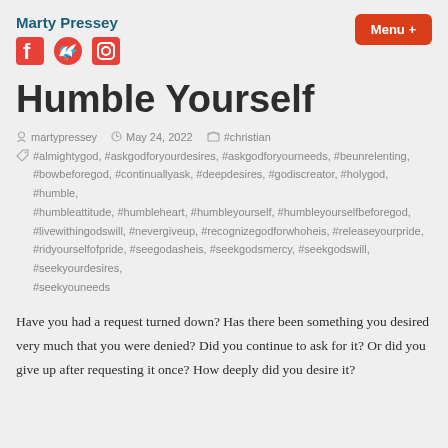Marty Pressey
Humble Yourself
martypressey   May 24, 2022   #christian
#almightygod, #askgodforyourdesires, #askgodforyourneeds, #beunrelenting, #bowbeforegod, #continuallyask, #deepdesires, #godiscreator, #holygod, #humble, #humbleattitude, #humbleheart, #humbleyourself, #humbleyourselfbeforegod, #livewithingodswill, #nevergiveup, #recognizegodforwhoheis, #releaseyourpride, #ridyourselfofpride, #seegodasheis, #seekgodsmercy, #seekgodswill, #seekyourdesires, #seekyouneeds
Have you had a request turned down? Has there been something you desired very much that you were denied? Did you continue to ask for it? Or did you give up after requesting it once? How deeply did you desire it?